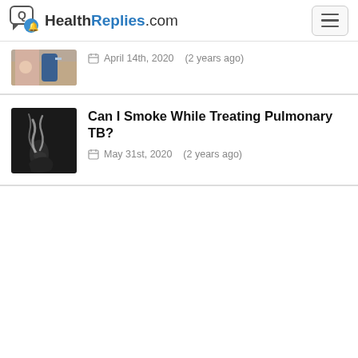HealthReplies.com
[Figure (photo): Medical/clinical image thumbnail - partially visible at top, appears to show a medical procedure on a hand/arm]
April 14th, 2020   (2 years ago)
Can I Smoke While Treating Pulmonary TB?
[Figure (photo): Dark image showing smoke, related to smoking and pulmonary TB article]
May 31st, 2020   (2 years ago)